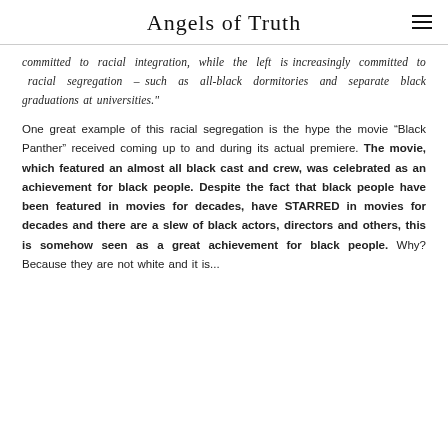Angels of Truth
committed to racial integration, while the left is increasingly committed to racial segregation – such as all-black dormitories and separate black graduations at universities."
One great example of this racial segregation is the hype the movie “Black Panther” received coming up to and during its actual premiere. The movie, which featured an almost all black cast and crew, was celebrated as an achievement for black people. Despite the fact that black people have been featured in movies for decades, have STARRED in movies for decades and there are a slew of black actors, directors and others, this is somehow seen as a great achievement for black people. Why? Because they are not white and it is...